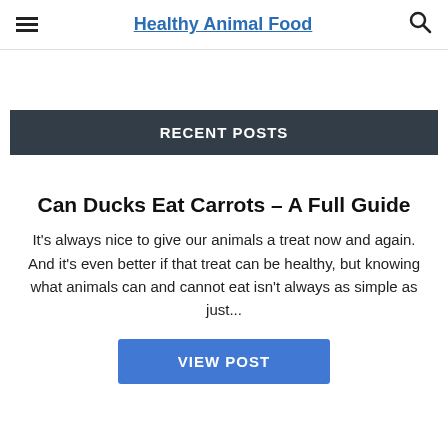Healthy Animal Food
RECENT POSTS
Can Ducks Eat Carrots – A Full Guide
It's always nice to give our animals a treat now and again. And it's even better if that treat can be healthy, but knowing what animals can and cannot eat isn't always as simple as just...
VIEW POST